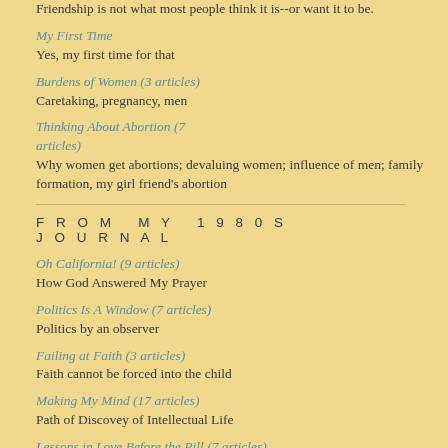Friendship is not what most people think it is--or want it to be.
My First Time
Yes, my first time for that
Burdens of Women (3 articles)
Caretaking, pregnancy, men
Thinking About Abortion (7 articles)
Why women get abortions; devaluing women; influence of men; family formation, my girl friend's abortion
FROM MY 1980S JOURNAL
Oh California! (9 articles)
How God Answered My Prayer
Politics Is A Window (7 articles)
Politics by an observer
Failing at Faith (3 articles)
Faith cannot be forced into the child
Making My Mind (17 articles)
Path of Discovey of Intellectual Life
Lessons in Love Before the Pill (7 articles)
Love and sex when growing up in the 1950s and '60s
RECENT POSTS